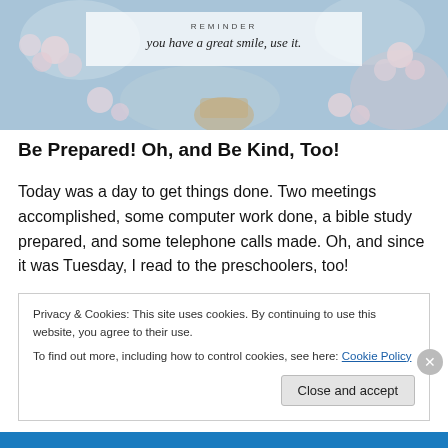[Figure (illustration): A floral painting background (roses/carnations in pastel blues and pinks) with a semi-transparent white overlay box containing the text 'REMINDER' in small caps and 'you have a great smile, use it.' in italic script.]
Be Prepared! Oh, and Be Kind, Too!
Today was a day to get things done. Two meetings accomplished, some computer work done, a bible study prepared, and some telephone calls made. Oh, and since it was Tuesday, I read to the preschoolers, too!
Privacy & Cookies: This site uses cookies. By continuing to use this website, you agree to their use.
To find out more, including how to control cookies, see here: Cookie Policy